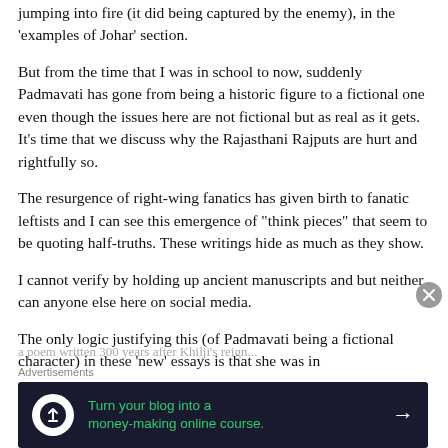jumping into fire (it did being captured by the enemy), in the ‘examples of Johar’ section.
But from the time that I was in school to now, suddenly Padmavati has gone from being a historic figure to a fictional one even though the issues here are not fictional but as real as it gets. It’s time that we discuss why the Rajasthani Rajputs are hurt and rightfully so.
The resurgence of right-wing fanatics has given birth to fanatic leftists and I can see this emergence of “think pieces” that seem to be quoting half-truths. These writings hide as much as they show.
I cannot verify by holding up ancient manuscripts and but neither can anyone else here on social media.
The only logic justifying this (of Padmavati being a fictional character) in these ‘new’ essays is that she was in
Advertisements
[Figure (other): Advertisement banner: dark navy background with circular white icon showing a person/upload symbol, green text reading 'Turn your blog into a money-making online course.' and a white arrow pointing right.]